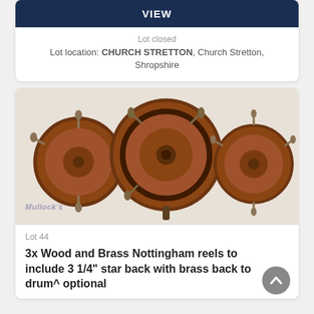VIEW
Lot closed
Lot location: CHURCH STRETTON, Church Stretton, Shropshire
[Figure (photo): Three wooden and brass Nottingham fishing reels of different sizes arranged side by side on a white background. Left and right reels are smaller, center reel is the largest. All have brown wood construction with brass fittings. Mullock's watermark visible in lower left.]
Lot 44
3x Wood and Brass Nottingham reels to include 3 1/4" star back with brass back to drum^ optional